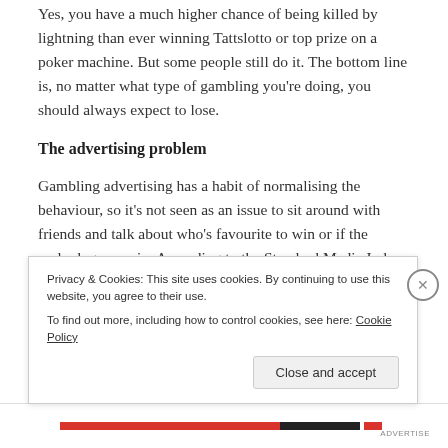Yes, you have a much higher chance of being killed by lightning than ever winning Tattslotto or top prize on a poker machine. But some people still do it. The bottom line is, no matter what type of gambling you're doing, you should always expect to lose.
The advertising problem
Gambling advertising has a habit of normalising the behaviour, so it's not seen as an issue to sit around with friends and talk about who's favourite to win or if the underdog can win. According to the Standard Media Index, the gambling industry spent $234.5 million on advertising in Australia in 2016, up from $89.7 million in 2011. This
Privacy & Cookies: This site uses cookies. By continuing to use this website, you agree to their use.
To find out more, including how to control cookies, see here: Cookie Policy